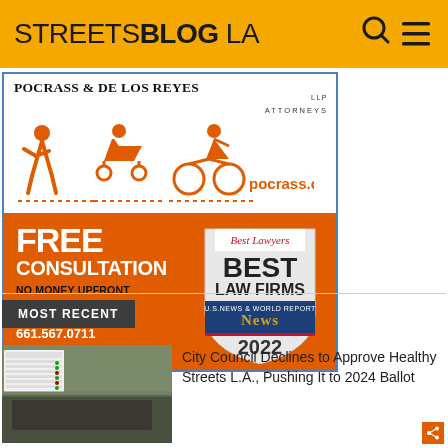STREETSBLOG LA
[Figure (advertisement): Pocrass & De Los Reyes LLP Attorneys advertisement. Orange icons of pedestrian, scooter, bicycle. Website pocrass.com. Free Consultation, No Money Upfront, 310.550.9050, 661.567.0711, info@pocrass.com. Best Lawyers Best Law Firms U.S. News & World Report 2022 badge.]
MOST RECENT
[Figure (photo): City council chamber scene with voting tally board visible]
City Council Declines to Approve Healthy Streets L.A., Pushing It to 2024 Ballot